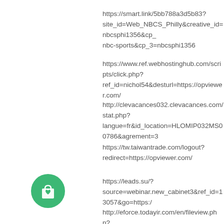https://smart.link/5bb788a3d5b83?site_id=Web_NBCS_Philly&creative_id=nbcsphi1356&cp_nbc-sports&cp_3=nbcsphi1356
https://www.ref.webhostinghub.com/scripts/click.php?ref_id=nichol54&desturl=https://opviewer.com/
http://clevacances032.clevacances.com/stat.php?langue=fr&id_location=HLOMIP032MS00786&agrement=3
https://tw.taiwantrade.com/logout?redirect=https://opviewer.com/
https://leads.su/?source=webinar.new_cabinet3&ref_id=13057&go=https:/
[Figure (illustration): Green circle icon with a shopping bag and heart symbol]
http://eforce.todayir.com/en/fileview.php?